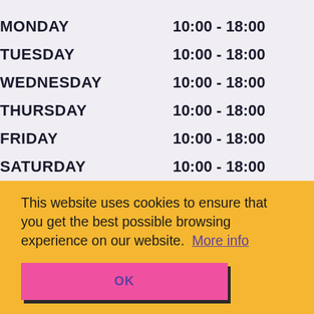| Day | Hours |
| --- | --- |
| MONDAY | 10:00 - 18:00 |
| TUESDAY | 10:00 - 18:00 |
| WEDNESDAY | 10:00 - 18:00 |
| THURSDAY | 10:00 - 18:00 |
| FRIDAY | 10:00 - 18:00 |
| SATURDAY | 10:00 - 18:00 |
This website uses cookies to ensure that you get the best possible browsing experience on our website.  More info
OK